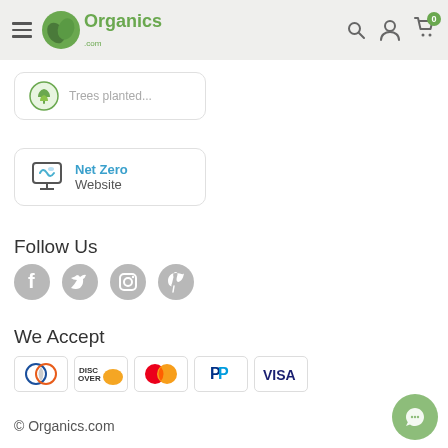Organics.com navigation bar with hamburger menu, logo, search, account, and cart icons
[Figure (logo): Partial badge card showing trees planted icon and partial text]
[Figure (logo): Net Zero Website badge card with monitor icon]
Follow Us
[Figure (infographic): Social media icons: Facebook, Twitter, Instagram, Pinterest (grey circles)]
We Accept
[Figure (infographic): Payment method icons: Diners Club, Discover, Mastercard, PayPal, Visa]
© Organics.com